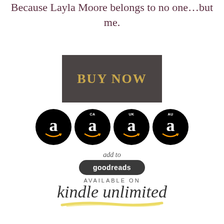Because Layla Moore belongs to no one…but me.
[Figure (other): Dark gray rectangular button with gold bold text reading BUY NOW]
[Figure (other): Four black circular Amazon logo buttons: plain Amazon, CA, UK, AU]
[Figure (other): Add to goodreads button with italic script text above and dark pill-shaped button below]
[Figure (other): Available on Kindle Unlimited logo with italic script text and yellow brushstroke underline]